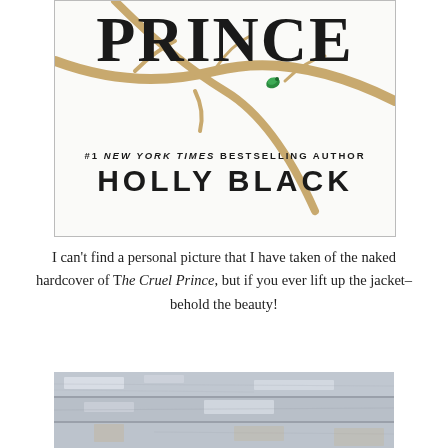[Figure (photo): Book cover of 'The Cruel Prince' showing the word PRINCE in large ornate letters with twisting branches across it, a small green beetle, and text reading '#1 NEW YORK TIMES BESTSELLING AUTHOR HOLLY BLACK']
I can't find a personal picture that I have taken of the naked hardcover of The Cruel Prince, but if you ever lift up the jacket–behold the beauty!
[Figure (photo): Close-up photo of a wooden surface with weathered white paint and wood grain visible, appearing to be the naked hardcover of The Cruel Prince book.]